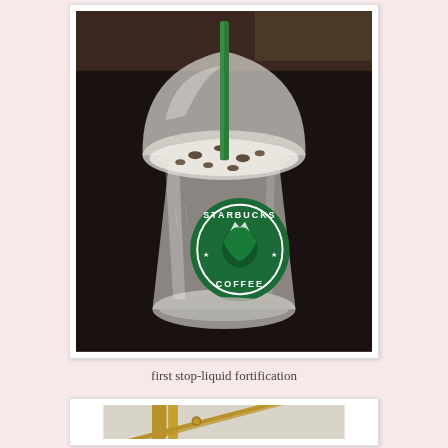[Figure (photo): A Starbucks Coffee Frappuccino in a clear plastic cup with a dome lid and green straw, sitting on a dark table. The Starbucks Coffee logo is visible on the cup.]
first stop-liquid fortification
[Figure (photo): Bottom portion of a second photo showing what appears to be a metal rack or chair frame with gold/brass colored metal bars, partially visible at the bottom of the page.]